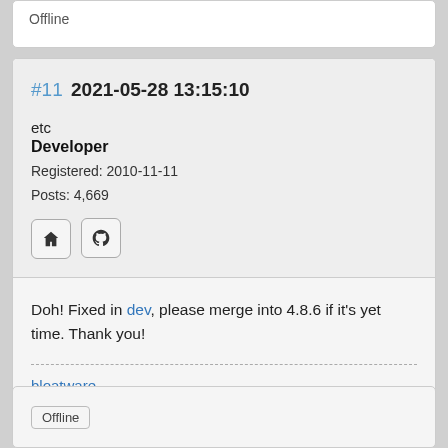Offline
#11  2021-05-28 13:15:10
etc
Developer
Registered: 2010-11-11
Posts: 4,669
Doh! Fixed in dev, please merge into 4.8.6 if it's yet time. Thank you!
bloatware
Offline